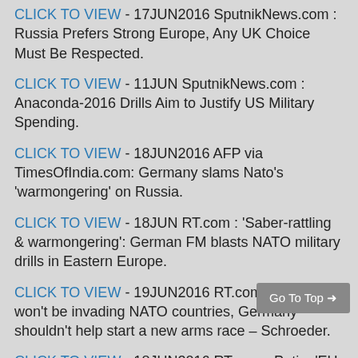CLICK TO VIEW - 17JUN2016 SputnikNews.com : Russia Prefers Strong Europe, Any UK Choice Must Be Respected.
CLICK TO VIEW - 11JUN SputnikNews.com : Anaconda-2016 Drills Aim to Justify US Military Spending.
CLICK TO VIEW - 18JUN2016 AFP via TimesOfIndia.com: Germany slams Nato's 'warmongering' on Russia.
CLICK TO VIEW - 18JUN RT.com : 'Saber-rattling & warmongering': German FM blasts NATO military drills in Eastern Europe.
CLICK TO VIEW - 19JUN2016 RT.com : Russia won't be invading NATO countries, Germany shouldn't help start a new arms race – Schroeder.
CLICK TO VIEW - 18JUN2016 RT.com : Putin: 'EU is Russia's friend; NATO is the problem'.
CLICK TO VIEW - 20JUN reuters.com : NATO commander sees no imminent Russian threat to Baltics.
CLICK TO VIEW - Published 17MAR2015 via YouTube: StratforThe US Main Interest is to Stop Alliance Between...